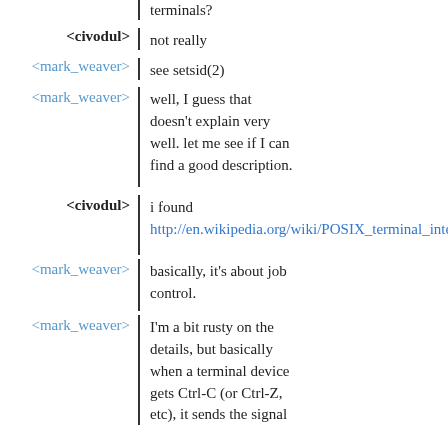terminals?
<civodul> not really
<mark_weaver> see setsid(2)
<mark_weaver> well, I guess that doesn't explain very well. let me see if I can find a good description.
<civodul> i found http://en.wikipedia.org/wiki/POSIX_terminal_inter...
<mark_weaver> basically, it's about job control.
<mark_weaver> I'm a bit rusty on the details, but basically when a terminal device gets Ctrl-C (or Ctrl-Z, etc), it sends the signal